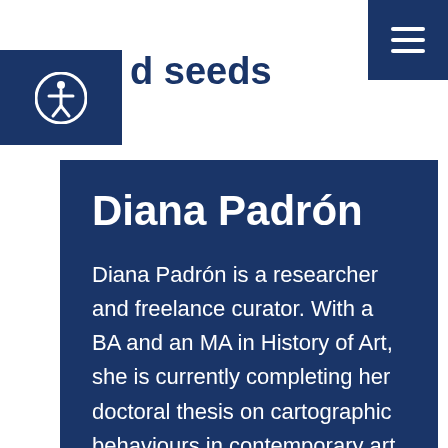d seeds
Diana Padrón
Diana Padrón is a researcher and freelance curator. With a BA and an MA in History of Art, she is currently completing her doctoral thesis on cartographic behaviours in contemporary art. She has delivered papers and lectures in various international centres and institutions, and has curated projects like Perder el Norte, Translocaciones, and Loop Barcelona 2016. Since 2011 she has